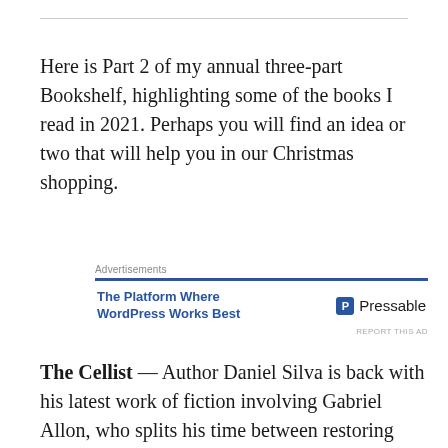Here is Part 2 of my annual three-part Bookshelf, highlighting some of the books I read in 2021. Perhaps you will find an idea or two that will help you in our Christmas shopping.
[Figure (other): Pressable advertisement block with blue bar header labeled 'Advertisements', text 'The Platform Where WordPress Works Best' on left, Pressable logo on right, and 'REPORT THIS AD' link at bottom right.]
The Cellist — Author Daniel Silva is back with his latest work of fiction involving Gabriel Allon, who splits his time between restoring works of art and being a secret agent man with